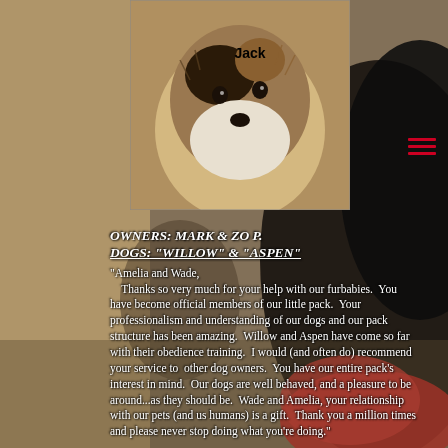[Figure (photo): Background photo of a large black fluffy dog outdoors with blurred brown/tan background]
[Figure (photo): Close-up photo of a scruffy terrier dog named Jack with tan, black and white fur, labeled 'Jack']
OWNERS:  MARK & ZO P.
DOGS: "WILLOW" & "ASPEN"
"Amelia and Wade,
     Thanks so very much for your help with our furbabies.  You have become official members of our little pack.  Your professionalism and understanding of our dogs and our pack structure has been amazing.  Willow and Aspen have come so far with their obedience training.  I would (and often do) recommend your service to  other dog owners.  You have our entire pack's interest in mind.  Our dogs are well behaved, and a pleasure to be around...as they should be.  Wade and Amelia, your relationship with our pets (and us humans) is a gift.  Thank you a million times and please never stop doing what you're doing."